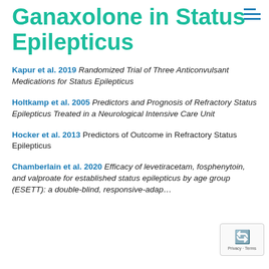Ganaxolone in Status Epilepticus
Kapur et al. 2019 Randomized Trial of Three Anticonvulsant Medications for Status Epilepticus
Holtkamp et al. 2005 Predictors and Prognosis of Refractory Status Epilepticus Treated in a Neurological Intensive Care Unit
Hocker et al. 2013 Predictors of Outcome in Refractory Status Epilepticus
Chamberlain et al. 2020 Efficacy of levetiracetam, fosphenytoin, and valproate for established status epilepticus by age group (ESETT): a double-blind, responsive-adaptive…